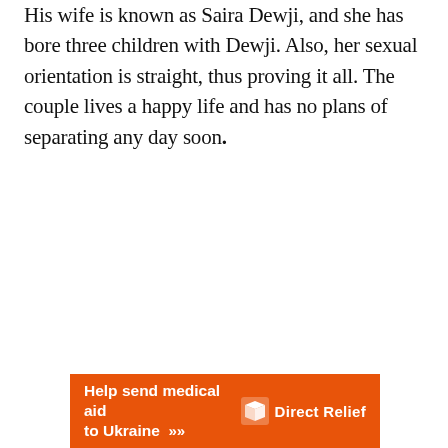His wife is known as Saira Dewji, and she has bore three children with Dewji. Also, her sexual orientation is straight, thus proving it all. The couple lives a happy life and has no plans of separating any day soon.
[Figure (other): Orange advertisement banner for Direct Relief reading 'Help send medical aid to Ukraine >>' with Direct Relief logo on the right]